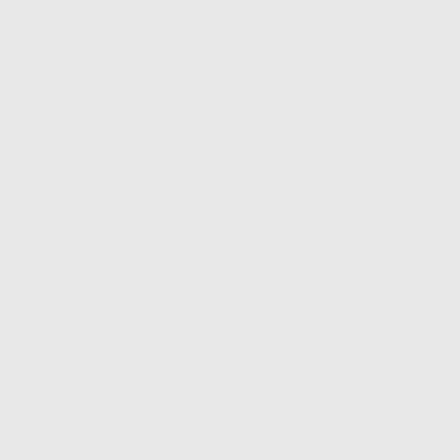experience. JCO Precision Oncology - published on...
Schorch B, Heni H, Zaha... Aktories K. Targeting on TpeL. Oncotarget. 2018 10.18632/oncotarget.247...
Herr R, Halbach S, Heiz... inhibition upregulates downstream effector G... Mar;37(12):1576-1593. d...
Mathew NR, Baumgartn... G, Börries M, ....... Blaza... versus-leukemia activi... FLT3-ITD-mutant leuke... 10.1038/nm.4484. Pubm...
Prestipino A,....... Boerrie... Oncogenic JAK2V617F... in myeloproliferative n... eaam7729. doi: 10.1126...
Brauns-Schubert P, Sch... M, Miething C, Borner C... controls the interaction... Rep. 2018 Feb;19(2):24... Pubmed29335245
2017  Stickel N, Hanke K, Mar... Schmitt-Graeff A, Brumm... Duyster J, Ferrara J, Sal... expression via targeti...